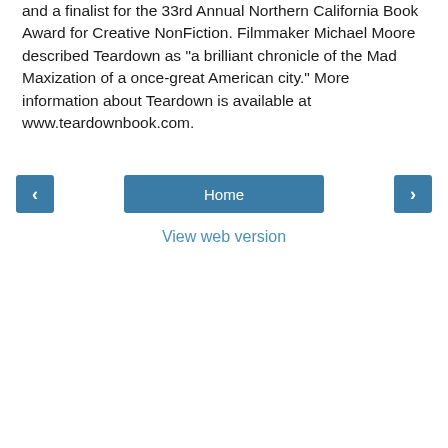and a finalist for the 33rd Annual Northern California Book Award for Creative NonFiction. Filmmaker Michael Moore described Teardown as "a brilliant chronicle of the Mad Maxization of a once-great American city." More information about Teardown is available at www.teardownbook.com.
Home
View web version